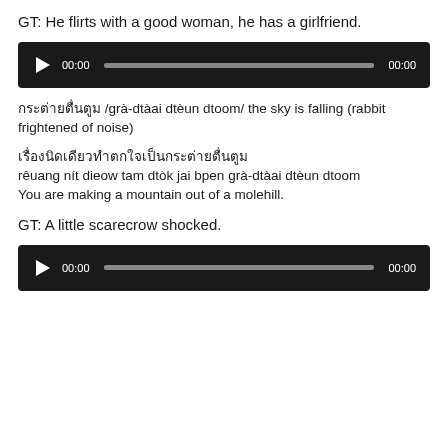GT: He flirts with a good woman, he has a girlfriend.
[Figure (screenshot): Audio player with play button, 00:00 timestamp, progress bar, and 00:00 end time on dark background]
กระต่ายตื่นตูม /grà-dtàai dtèun dtoom/ the sky is falling (rabbit frightened of noise)
เรื่องนิดเดียวทำตกใจเป็นกระต่ายตื่นตูม rêuang nít dieow tam dtòk jai bpen grà-dtàai dtèun dtoom
You are making a mountain out of a molehill.
GT: A little scarecrow shocked.
[Figure (screenshot): Audio player with play button, 00:00 timestamp, progress bar, and 00:00 end time on dark background]